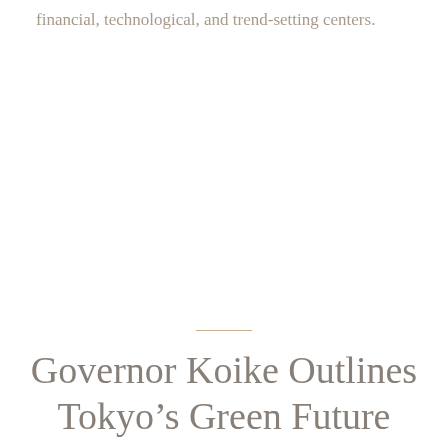financial, technological, and trend-setting centers.
Governor Koike Outlines Tokyo’s Green Future